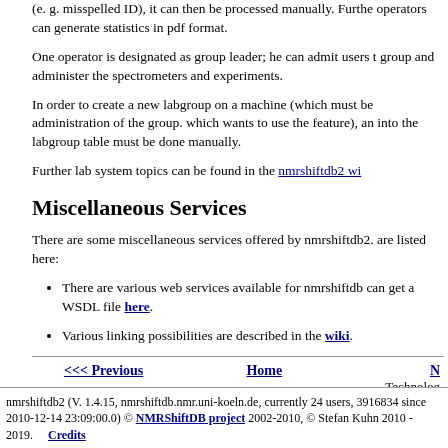(e. g. misspelled ID), it can then be processed manually. Further operators can generate statistics in pdf format.
One operator is designated as group leader; he can admit users to the group and administer the spectrometers and experiments.
In order to create a new labgroup on a machine (which must be administration of the group. which wants to use the feature), an into the labgroup table must be done manually.
Further lab system topics can be found in the nmrshiftdb2 wi
Miscellaneous Services
There are some miscellaneous services offered by nmrshiftdb2. are listed here:
There are various web services available for nmrshiftdb can get a WSDL file here.
Various linking possibilities are described in the wiki.
nmrshiftdb2 (V. 1.4.15, nmrshiftdb.nmr.uni-koeln.de, currently 24 users, 3916834 since 2010-12-14 23:09:00.0) © NMRShiftDB project 2002-2010, © Stefan Kuhn 2010 - 2019. Credits